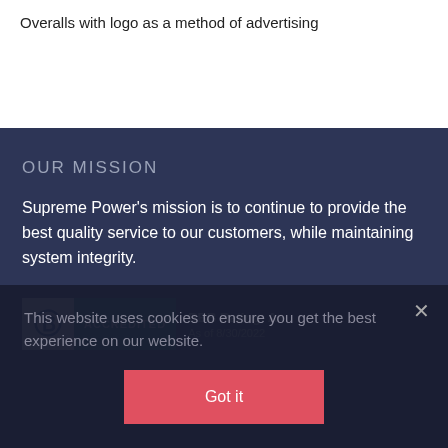Overalls with logo as a method of advertising
OUR MISSION
Supreme Power's mission is to continue to provide the best quality service to our customers, while maintaining system integrity.
[Figure (logo): BBB Accredited Business logo with rating A+ as of 8/30/2022]
BBB Rating: A+
As of 8/30/2022
This website uses cookies to ensure you get the best experience on our website.
Got it